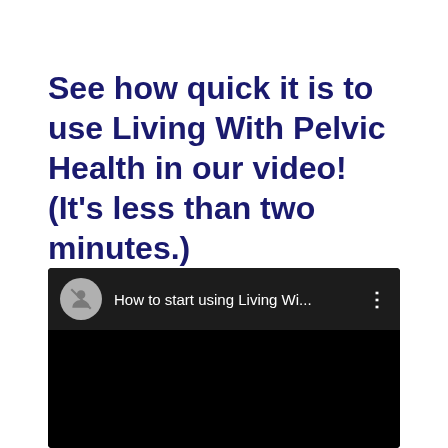See how quick it is to use Living With Pelvic Health in our video! (It's less than two minutes.)
[Figure (screenshot): Embedded video player screenshot showing a dark/black video frame with a top bar containing a circular avatar icon, the title 'How to start using Living Wi...' in white text, and a three-dot menu icon on the right.]